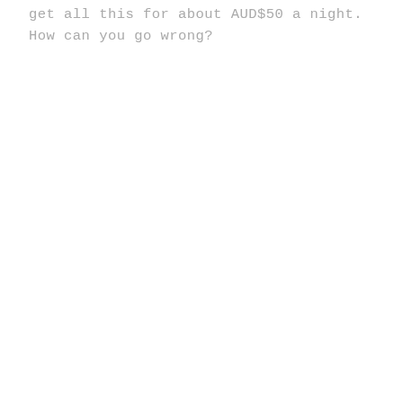get all this for about AUD$50 a night. How can you go wrong?